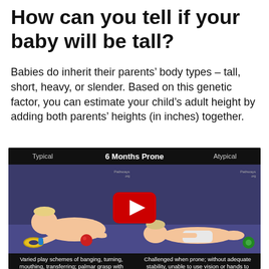How can you tell if your baby will be tall?
Babies do inherit their parents’ body types – tall, short, heavy, or slender. Based on this genetic factor, you can estimate your child’s adult height by adding both parents’ heights (in inches) together.
[Figure (screenshot): Video thumbnail showing two side-by-side baby videos labeled '6 Months Prone' with 'Typical' on the left and 'Atypical' on the right, featuring a YouTube play button in the center. Below reads 'Play'. Left side shows a baby prone actively engaging with toys; right side shows a baby lying flat. Pathways watermark visible. Text below describes 'Varied play schemes of banging, turning, mouthing, transferring; palmar grasp with increased digital participation' on left and 'Challenged when prone; without adequate stability, unable to use vision or hands to explore the environment' on right.]